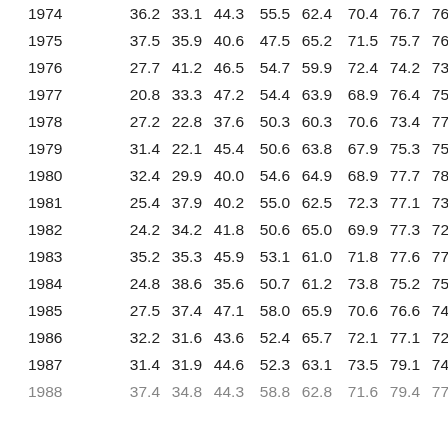| Year | Col1 | Col2 | Col3 | Col4 | Col5 | Col6 | Col7 | Col8 | Col9 |
| --- | --- | --- | --- | --- | --- | --- | --- | --- | --- |
| 1974 | 36.2 | 33.1 | 44.3 | 55.5 | 62.4 | 70.4 | 76.7 | 76.1 | 66 |
| 1975 | 37.5 | 35.9 | 40.6 | 47.5 | 65.2 | 71.5 | 75.7 | 76.3 | 65 |
| 1976 | 27.7 | 41.2 | 46.5 | 54.7 | 59.9 | 72.4 | 74.2 | 73.7 | 66 |
| 1977 | 20.8 | 33.3 | 47.2 | 54.4 | 63.9 | 68.9 | 76.4 | 75.4 | 69 |
| 1978 | 27.2 | 22.8 | 37.6 | 50.3 | 60.3 | 70.6 | 73.4 | 77.1 | 66 |
| 1979 | 31.4 | 22.1 | 45.4 | 50.6 | 63.8 | 67.9 | 75.3 | 75.0 | 68 |
| 1980 | 32.4 | 29.9 | 40.0 | 54.6 | 64.9 | 68.9 | 77.7 | 78.2 | 71 |
| 1981 | 25.4 | 37.9 | 40.2 | 55.0 | 62.5 | 72.3 | 77.1 | 73.5 | 66 |
| 1982 | 24.2 | 34.2 | 41.8 | 50.6 | 65.0 | 69.9 | 77.3 | 72.0 | 67 |
| 1983 | 35.2 | 35.3 | 45.9 | 53.1 | 61.0 | 71.8 | 77.6 | 77.0 | 69 |
| 1984 | 24.8 | 38.6 | 35.6 | 50.7 | 61.2 | 73.8 | 75.2 | 75.2 | 63 |
| 1985 | 27.5 | 37.4 | 47.1 | 58.0 | 65.9 | 70.6 | 76.6 | 74.4 | 69 |
| 1986 | 32.2 | 31.6 | 43.6 | 52.4 | 65.7 | 72.1 | 77.1 | 72.5 | 67 |
| 1987 | 31.4 | 31.9 | 44.6 | 52.3 | 63.1 | 73.5 | 79.1 | 74.3 | 68 |
| 1988 | 37.4 | 34.8 | 44.3 | 58.8 | 62.8 | 71.6 | 79.4 | 77.3 | 65 |